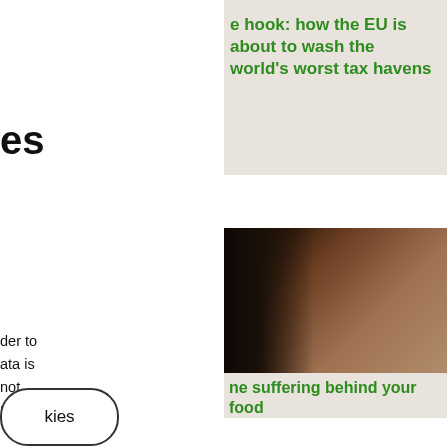e hook: how the EU is about to wash the world's worst tax havens
es
[Figure (photo): Close-up portrait photo of a person's face, dark toned image]
ne suffering behind your food
der to
ata is
not
Decide
Donate
kies